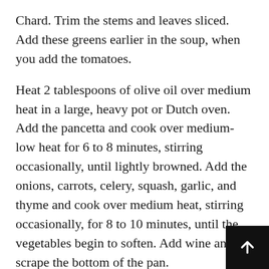Chard. Trim the stems and leaves sliced. Add these greens earlier in the soup, when you add the tomatoes.
Heat 2 tablespoons of olive oil over medium heat in a large, heavy pot or Dutch oven. Add the pancetta and cook over medium-low heat for 6 to 8 minutes, stirring occasionally, until lightly browned. Add the onions, carrots, celery, squash, garlic, and thyme and cook over medium heat, stirring occasionally, for 8 to 10 minutes, until the vegetables begin to soften. Add wine and scrape the bottom of the pan.
Optional: Add half of the tomatoes, half of the beans, and 1 cup of stock to a blender and puree.
Add the tomatoes, 6 cups of the chicken stock, the bay leaf, parmesan rind, salt & pepper, crushed red pepper, and herbs to the pot. Bring to a boil, then lower the h and simmer uncovered for 30 minutes, until the